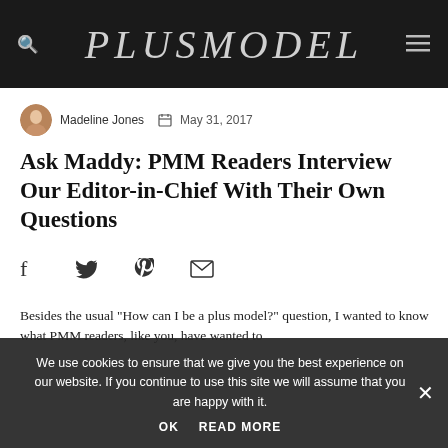PLUSMODEL
Madeline Jones  May 31, 2017
Ask Maddy: PMM Readers Interview Our Editor-in-Chief With Their Own Questions
[Figure (other): Social share icons: Facebook, Twitter, Pinterest, Email]
Besides the usual "How can I be a plus model?" question, I wanted to know what PMM readers, like you, have wanted to
We use cookies to ensure that we give you the best experience on our website. If you continue to use this site we will assume that you are happy with it.
OK  READ MORE